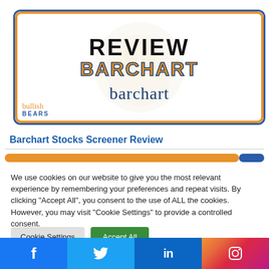[Figure (illustration): Hero banner showing 'REVIEW' in large black bold text at top, 'BARCHART' in large orange bold text with dark blue outline, and 'barchart' in dark blue serif font below. A tiger watermark is behind the text. Blue border outside, orange border inside. Bullish Bears logo at bottom left.]
Barchart Stocks Screener Review
[Figure (other): Partial horizontal bar element with orange and blue gradient, partially visible at bottom of content area above cookie overlay.]
We use cookies on our website to give you the most relevant experience by remembering your preferences and repeat visits. By clicking "Accept All", you consent to the use of ALL the cookies. However, you may visit "Cookie Settings" to provide a controlled consent.
Cookie Settings | Accept All
[Figure (other): Social media bar at bottom with four icons: Facebook (f), Twitter (bird), LinkedIn (in), Instagram (camera) on colored backgrounds.]